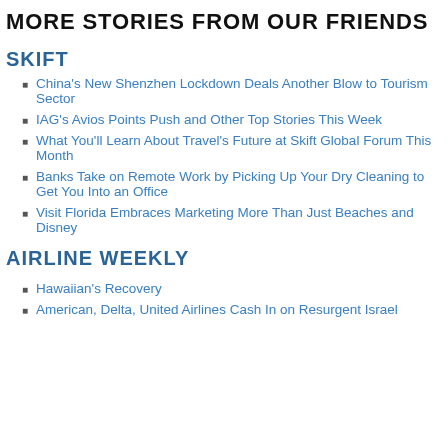MORE STORIES FROM OUR FRIENDS
SKIFT
China's New Shenzhen Lockdown Deals Another Blow to Tourism Sector
IAG's Avios Points Push and Other Top Stories This Week
What You'll Learn About Travel's Future at Skift Global Forum This Month
Banks Take on Remote Work by Picking Up Your Dry Cleaning to Get You Into an Office
Visit Florida Embraces Marketing More Than Just Beaches and Disney
AIRLINE WEEKLY
Hawaiian's Recovery
American, Delta, United Airlines Cash In on Resurgent Israel